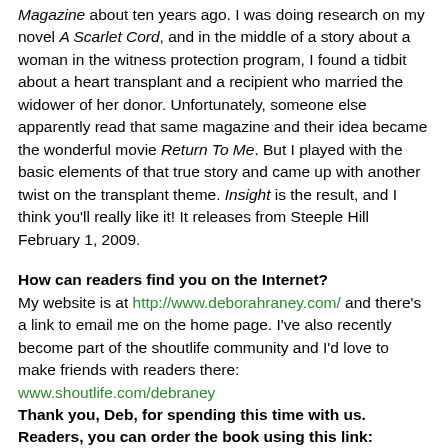Magazine about ten years ago. I was doing research on my novel A Scarlet Cord, and in the middle of a story about a woman in the witness protection program, I found a tidbit about a heart transplant and a recipient who married the widower of her donor. Unfortunately, someone else apparently read that same magazine and their idea became the wonderful movie Return To Me. But I played with the basic elements of that true story and came up with another twist on the transplant theme. Insight is the result, and I think you'll really like it! It releases from Steeple Hill February 1, 2009.
How can readers find you on the Internet?
My website is at http://www.deborahraney.com/ and there's a link to email me on the home page. I've also recently become part of the shoutlife community and I'd love to make friends with readers there: www.shoutlife.com/debraney Thank you, Deb, for spending this time with us. Readers, you can order the book using this link: